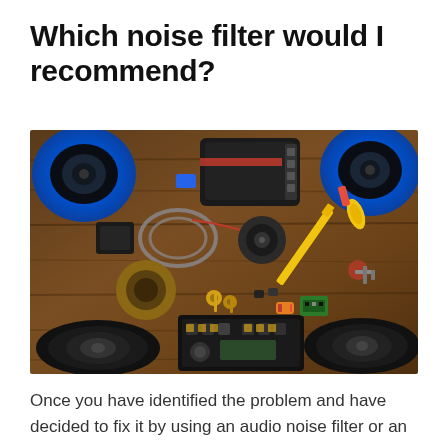Which noise filter would I recommend?
[Figure (photo): Flat lay of car audio components on a wooden surface, including speakers, an amplifier, wiring, a car radio head unit, fuses, a key fob, tape, and other electronic parts.]
Once you have identified the problem and have decided to fix it by using an audio noise filter or an